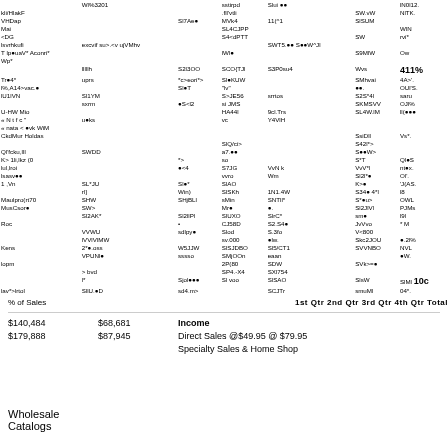| kli/HlakF |  |  | .fll'vtli |  | SW.vW | NlTK. |
| VHDap |  | Sl7Ae● | MVk4 | 11(^1 | SlSUM |  |
| Mai |  |  | SL4CJPP |  |  | WlN |
| <DG |  |  | S4<dPTT |  | SW | rvi* |
| lsvrhkufi | excvif su>.<v ujVMhv |  |  | SWT5.●● S●●VV^Jl |  |  |
| T lp●uaV* Aconri* |  |  | lWl● |  | S9MlW | Ow |
| Wp* |  |  |  |  |  |  |
|  | lllllh | S2l3OO | SCO{TJl | S3P0su4 | Wvs | 411% |
| Tr●4* | uprs | *c>eori*> | Sl●KUW |  | SMhvai | 4A>'. |
| l%,A14>vac.● |  | Sl●T | "lv" |  | ●●. | OUl'S. |
| lU1lVN | Sl1YM |  | S>JE56 | srrtos | S2S*4l | saru |
|  | sxrm | ●S<l2 | si JMS |  | SKMSVV | OJl% |
| U-HW Mio |  |  | HA44l | 9cl.Trs | SL4W.lM | ll(●●● |
| «    N    t    f    c    " | u●ks |  | vc | Y4VlH |  |  |
| « nata < ●vk WiM |  |  |  |  |  |  |
| CkdMur Holdas |  |  |  |  | SsiDll | Vs*. |
|  |  |  | SlQ/ci> |  | S42l*> |  |
| Ql'fcku,llI | SWDD |  | a7.●● |  | S●●W> |  |
| K> 1li,lkz (0 |  | *> | so |  | S*T | Ql●S |
| lul,lroi |  | ●<4 | S7JG | VvN k | VvV*l | nt●x. |
| lsasv●● |  |  | vvro | Wm | Sl2l*● | Ol'. |
| 1 ,Vn | SL*JU | Sl●* | SlAO |  | K>● | 'J(AS. |
|  | rl] | Win) | SlSKh | 1N1.4W | S34● 4*l | l8 |
| Maulpro(rt70 | SHW | SHjBLl | sMin | SNTll* | S*●u> | OWL |
| MusCsor● | SW> |  | Mr● | ●. | Sl2JlVl | PJMs |
|  | Sl2AK* | Sl2llPl | SlUXO | SlrC* | sm● | l9l |
| Roc |  | • | CJ58D | S2.S4● | JvVvo | * M |
|  | VVWU | sdlpy● | Slod | S.3fo | V<800 |  |
|  | lVVlVlMW |  | sv.000 | ●lw. | Skc2JOU | ●.2l% |
| Kens | 2*●.oss | W5JJW | SlSJDBO | Sl5/CT1 | SVVNBO | NVL |
|  | VPUNl● | sssso | SMjOOn | eaan |  | ●W. |
| lopm |  |  | 2P(80 | SDW | SVk>=● |  |
|  | > bvd |  | SP4.-X4 | SXl754 |  |  |
|  | l* | Sjol●●● | Sl voo | SlSAO | SlsW | SlMl 10c |
| lav*>lrtol | SllU.●D | sd4.m> |  | SCJTr | smuMl | 04*. |
% of Sales                                    1st Qtr 2nd Qtr 3rd Qtr 4th Qtr Total
|  |  |  |
| --- | --- | --- |
| $140,484 | $68,681 | Income |
| $179,888 | $87,945 | Direct Sales @$49.95 @ $79.95 |
|  |  | Specialty Sales & Home Shop |
Wholesale
Catalogs